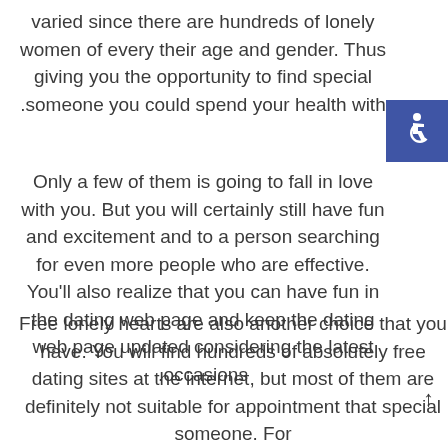varied since there are hundreds of lonely women of every their age and gender. Thus giving you the opportunity to find special someone you could spend your health with.
Only a few of them is going to fall in love with you. But you will certainly still have fun and excitement and to a person searching for even more people who are effective. You'll also realize that you can have fun in the dating web page and keep the dating web page updated considering the latest occasions.
Free lonely hearts are also another choice that you have. You will find hundreds of absolutely free dating sites at the internet, but most of them are definitely not suitable for appointment that special someone. For
[Figure (illustration): Blue accessibility icon badge (wheelchair symbol) in top-right corner]